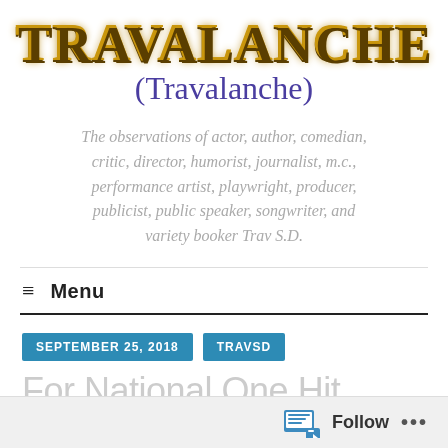TRAVALANCHE
(Travalanche)
The observations of actor, author, comedian, critic, director, humorist, journalist, m.c., performance artist, playwright, producer, publicist, public speaker, songwriter, and variety booker Trav S.D.
≡ Menu
SEPTEMBER 25, 2018
TRAVSD
For National One Hit
Follow